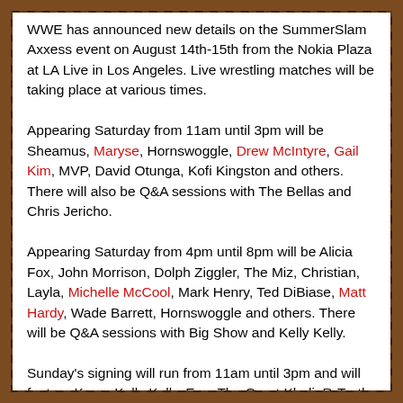WWE has announced new details on the SummerSlam Axxess event on August 14th-15th from the Nokia Plaza at LA Live in Los Angeles. Live wrestling matches will be taking place at various times. Appearing Saturday from 11am until 3pm will be Sheamus, Maryse, Hornswoggle, Drew McIntyre, Gail Kim, MVP, David Otunga, Kofi Kingston and others. There will also be Q&A sessions with The Bellas and Chris Jericho. Appearing Saturday from 4pm until 8pm will be Alicia Fox, John Morrison, Dolph Ziggler, The Miz, Christian, Layla, Michelle McCool, Mark Henry, Ted DiBiase, Matt Hardy, Wade Barrett, Hornswoggle and others. There will be Q&A sessions with Big Show and Kelly Kelly. Sunday's signing will run from 11am until 3pm and will feature Kane, Kelly Kelly, Eve, The Great Khali, R-Truth, Jack Swagger, Cody Rhodes, Alicia Fox,